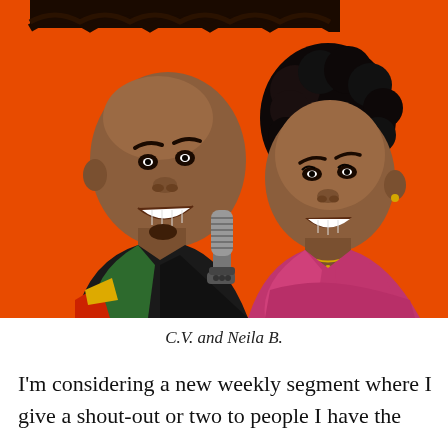[Figure (illustration): Cartoon/caricature illustration of two people on an orange background: a bald man on the left wearing a colorful jacket and a woman on the right with curly hair wearing a pink blazer, with a vintage microphone between them. A dark decorative wave banner is at the top.]
C.V. and Neila B.
I'm considering a new weekly segment where I give a shout-out or two to people I have the